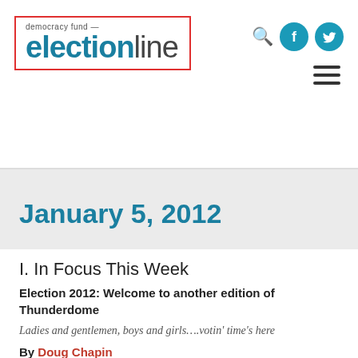democracy fund electionline
January 5, 2012
I. In Focus This Week
Election 2012: Welcome to another edition of Thunderdome
Ladies and gentlemen, boys and girls….votin' time's here
By Doug Chapin
In case you missed it – and really, how could you? – the